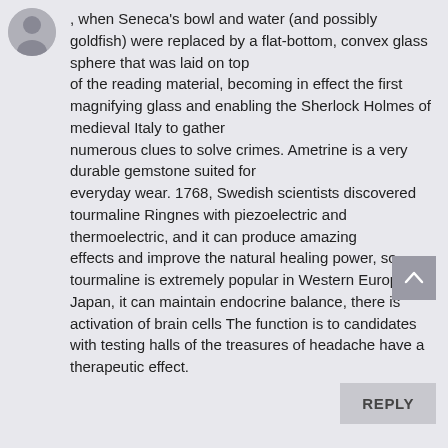[Figure (illustration): User avatar silhouette (gray circle with person outline)]
, when Seneca's bowl and water (and possibly goldfish) were replaced by a flat-bottom, convex glass sphere that was laid on top of the reading material, becoming in effect the first magnifying glass and enabling the Sherlock Holmes of medieval Italy to gather numerous clues to solve crimes. Ametrine is a very durable gemstone suited for everyday wear. 1768, Swedish scientists discovered tourmaline Ringnes with piezoelectric and thermoelectric, and it can produce amazing effects and improve the natural healing power, so tourmaline is extremely popular in Western Europe and Japan, it can maintain endocrine balance, there is activation of brain cells The function is to candidates with testing halls of the treasures of headache have a therapeutic effect.